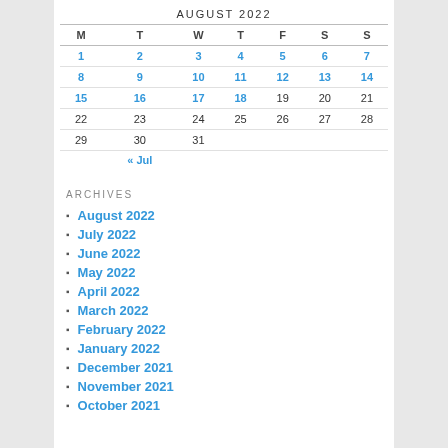AUGUST 2022
| M | T | W | T | F | S | S |
| --- | --- | --- | --- | --- | --- | --- |
| 1 | 2 | 3 | 4 | 5 | 6 | 7 |
| 8 | 9 | 10 | 11 | 12 | 13 | 14 |
| 15 | 16 | 17 | 18 | 19 | 20 | 21 |
| 22 | 23 | 24 | 25 | 26 | 27 | 28 |
| 29 | 30 | 31 |  |  |  |  |
|  | « Jul |  |  |  |  |  |
ARCHIVES
August 2022
July 2022
June 2022
May 2022
April 2022
March 2022
February 2022
January 2022
December 2021
November 2021
October 2021